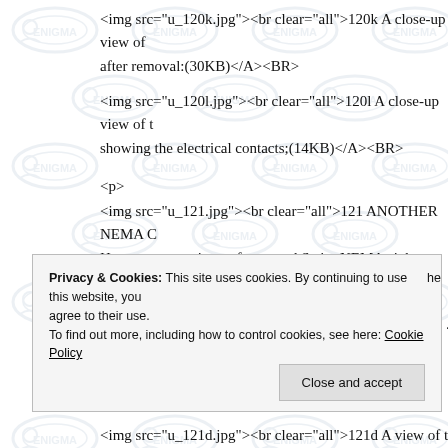<img src="u_120k.jpg"><br clear="all">120k A close-up view of after removal:(30KB)</A><BR>
<img src="u_120l.jpg"><br clear="all">120l A close-up view of showing the electrical contacts;(14KB)</A><BR>
<p>
<img src="u_121.jpg"><br clear="all">121 ANOTHER NEMA C Here are some views of a second Swiss NEMA cipher machine oft the Swiss Enigma:<br>
<img src="u_121a.jpg"><br clear="all">121a A closer view of the closed:(25KB)</A><BR>
Privacy & Cookies: This site uses cookies. By continuing to use this website, you agree to their use.
To find out more, including how to control cookies, see here: Cookie Policy
Close and accept
<img src="u_121d.jpg"><br clear="all">121d A view of the Key .M